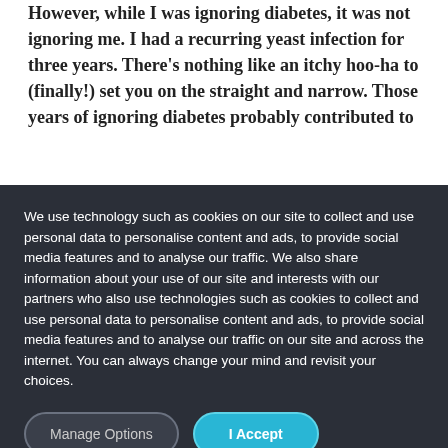downfall is more in the potato/pasta/bread area. However, while I was ignoring diabetes, it was not ignoring me. I had a recurring yeast infection for three years. There's nothing like an itchy hoo-ha to (finally!) set you on the straight and narrow. Those years of ignoring diabetes probably contributed to
We use technology such as cookies on our site to collect and use personal data to personalise content and ads, to provide social media features and to analyse our traffic. We also share information about your use of our site and interests with our partners who also use technologies such as cookies to collect and use personal data to personalise content and ads, to provide social media features and to analyse our traffic on our site and across the internet. You can always change your mind and revisit your choices.